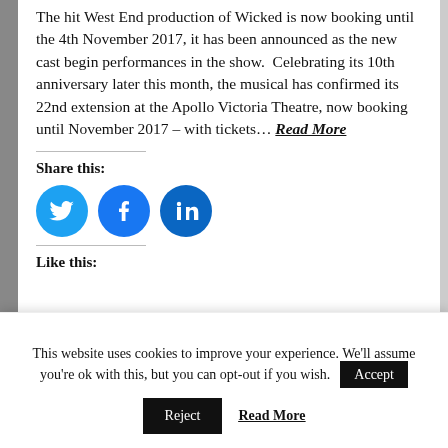The hit West End production of Wicked is now booking until the 4th November 2017, it has been announced as the new cast begin performances in the show.  Celebrating its 10th anniversary later this month, the musical has confirmed its 22nd extension at the Apollo Victoria Theatre, now booking until November 2017 – with tickets… Read More
Share this:
[Figure (infographic): Three social media share buttons: Twitter (bird icon, blue), Facebook (f icon, blue), LinkedIn (in icon, dark blue)]
Like this:
This website uses cookies to improve your experience. We'll assume you're ok with this, but you can opt-out if you wish. Accept Reject Read More